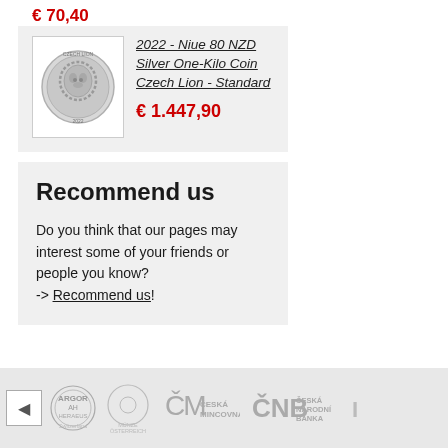€ 70,40
[Figure (photo): Silver coin with a lion design, circular, silver-grey coloring]
2022 - Niue 80 NZD Silver One-Kilo Coin Czech Lion - Standard
€ 1.447,90
Recommend us
Do you think that our pages may interest some of your friends or people you know?
-> Recommend us!
< Argor Heraeus Switzerland | Münze Österreich | ČM Česká Mincovna | ČNB Česká Národní Banka